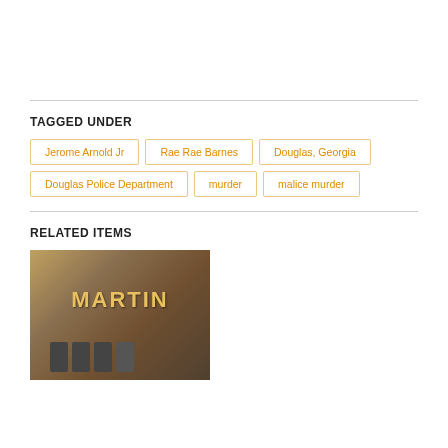TAGGED UNDER
Jerome Arnold Jr
Rae Rae Barnes
Douglas, Georgia
Douglas Police Department
murder
malice murder
RELATED ITEMS
[Figure (photo): Indoor photo showing letter signs spelling MARTIN with people standing in front]